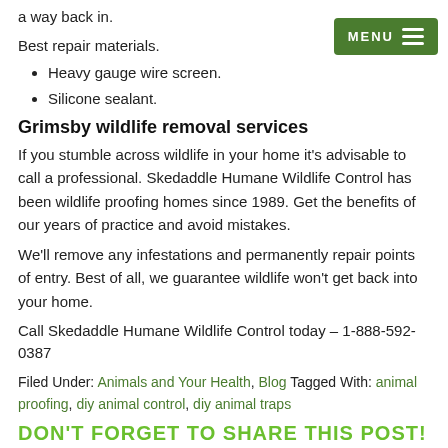a way back in.
Best repair materials.
Heavy gauge wire screen.
Silicone sealant.
Grimsby wildlife removal services
If you stumble across wildlife in your home it's advisable to call a professional. Skedaddle Humane Wildlife Control has been wildlife proofing homes since 1989. Get the benefits of our years of practice and avoid mistakes.
We'll remove any infestations and permanently repair points of entry. Best of all, we guarantee wildlife won't get back into your home.
Call Skedaddle Humane Wildlife Control today – 1-888-592-0387
Filed Under: Animals and Your Health, Blog Tagged With: animal proofing, diy animal control, diy animal traps
DON'T FORGET TO SHARE THIS POST!
[Figure (other): Social media share icons: Facebook, Twitter, Pinterest, LinkedIn]